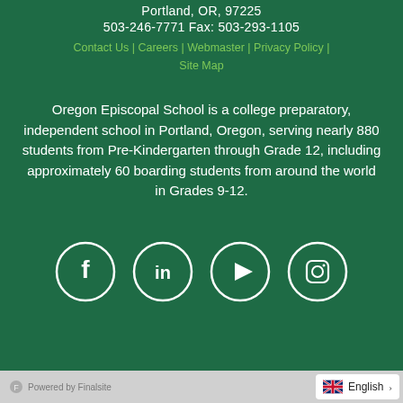Portland, OR, 97225
503-246-7771 Fax: 503-293-1105
Contact Us | Careers | Webmaster | Privacy Policy | Site Map
Oregon Episcopal School is a college preparatory, independent school in Portland, Oregon, serving nearly 880 students from Pre-Kindergarten through Grade 12, including approximately 60 boarding students from around the world in Grades 9-12.
[Figure (illustration): Four social media icons in white circles: Facebook, LinkedIn, YouTube, Instagram]
Powered by Finalsite | English